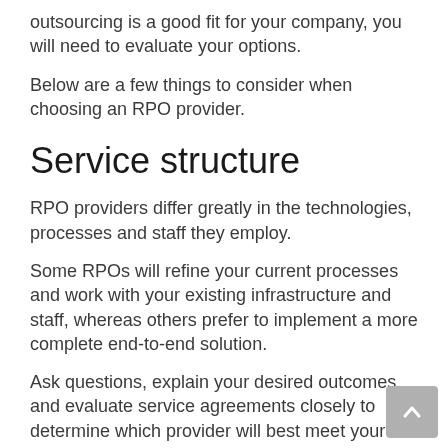outsourcing is a good fit for your company, you will need to evaluate your options.
Below are a few things to consider when choosing an RPO provider.
Service structure
RPO providers differ greatly in the technologies, processes and staff they employ.
Some RPOs will refine your current processes and work with your existing infrastructure and staff, whereas others prefer to implement a more complete end-to-end solution.
Ask questions, explain your desired outcomes and evaluate service agreements closely to determine which provider will best meet your needs.